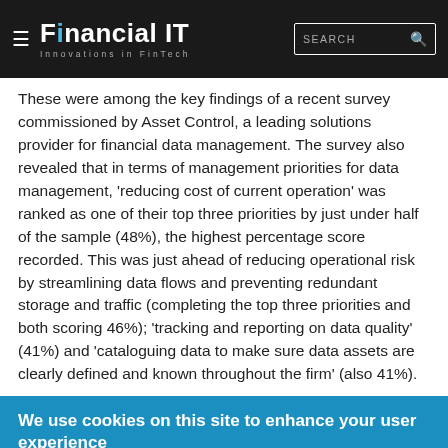Financial IT — Innovations in FinTech
These were among the key findings of a recent survey commissioned by Asset Control, a leading solutions provider for financial data management. The survey also revealed that in terms of management priorities for data management, 'reducing cost of current operation' was ranked as one of their top three priorities by just under half of the sample (48%), the highest percentage score recorded. This was just ahead of reducing operational risk by streamlining data flows and preventing redundant storage and traffic (completing the top three priorities and both scoring 46%); 'tracking and reporting on data quality' (41%) and 'cataloguing data to make sure data assets are clearly defined and known throughout the firm' (also 41%).
We use cookies on this site to enhance your user experience
By clicking any link on this page you are giving your consent for us to set cookies.
No, give me more info
OK, I agree